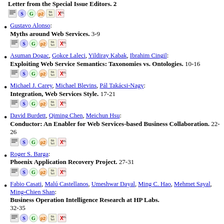Letter from the Special Issue Editors. 2
Gustavo Alonso: Myths around Web Services. 3-9
Asuman Dogac, Gokce Laleci, Yildiray Kabak, Ibrahim Cingil: Exploiting Web Service Semantics: Taxonomies vs. Ontologies. 10-16
Michael J. Carey, Michael Blevins, Pál Takácsi-Nagy: Integration, Web Services Style. 17-21
David Burdett, Qiming Chen, Meichun Hsu: Conductor: An Enabler for Web Services-based Business Collaboration. 22-26
Roger S. Barga: Phoenix Application Recovery Project. 27-31
Fabio Casati, Malú Castellanos, Umeshwar Dayal, Ming C. Hao, Mehmet Sayal, Ming-Chien Shan: Business Operation Intelligence Research at HP Labs. 32-35